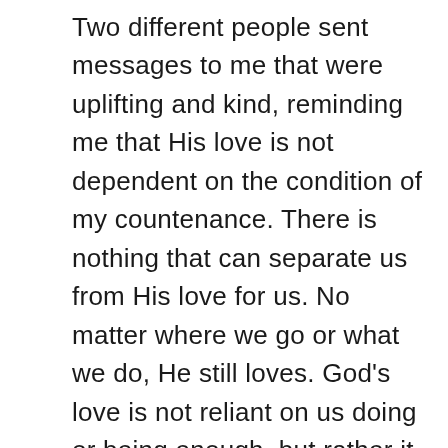Two different people sent messages to me that were uplifting and kind, reminding me that His love is not dependent on the condition of my countenance. There is nothing that can separate us from His love for us. No matter where we go or what we do, He still loves. God's love is not reliant on us doing or being enough, but rather it is something He does freely and fiercely because we are His children. Nothing in us or around us can stand in the way of Christ having loved us with His life. It is that love that overcomes all that cannot be hidden, harmed, nor removed, no matter what comes. May we each embrace the gracious gift of love that God gives, knowing that there is nothing in all of